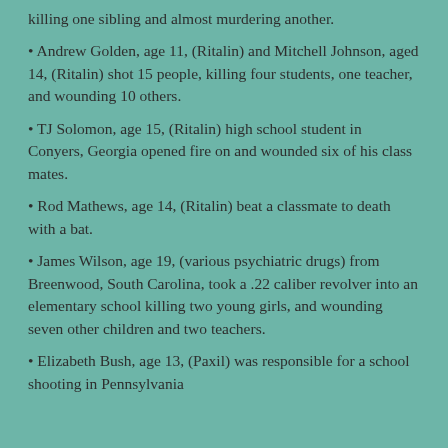killing one sibling and almost murdering another.
• Andrew Golden, age 11, (Ritalin) and Mitchell Johnson, aged 14, (Ritalin) shot 15 people, killing four students, one teacher, and wounding 10 others.
• TJ Solomon, age 15, (Ritalin) high school student in Conyers, Georgia opened fire on and wounded six of his class mates.
• Rod Mathews, age 14, (Ritalin) beat a classmate to death with a bat.
• James Wilson, age 19, (various psychiatric drugs) from Breenwood, South Carolina, took a .22 caliber revolver into an elementary school killing two young girls, and wounding seven other children and two teachers.
• Elizabeth Bush, age 13, (Paxil) was responsible for a school shooting in Pennsylvania